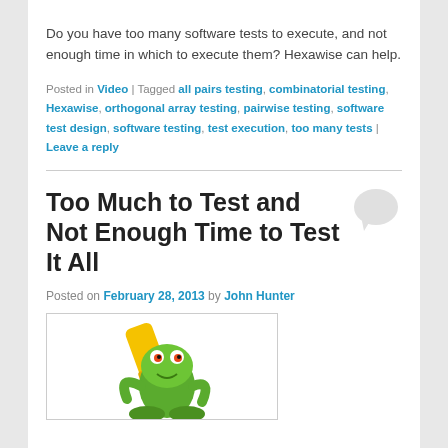Do you have too many software tests to execute, and not enough time in which to execute them? Hexawise can help.
Posted in Video | Tagged all pairs testing, combinatorial testing, Hexawise, orthogonal array testing, pairwise testing, software test design, software testing, test execution, too many tests | Leave a reply
Too Much to Test and Not Enough Time to Test It All
Posted on February 28, 2013 by John Hunter
[Figure (illustration): A cartoon frog holding a yellow highlighter/marker, partially visible at bottom of page]